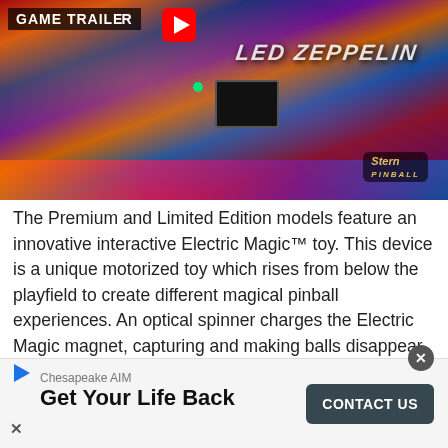[Figure (photo): Screenshot of a pinball machine game trailer thumbnail showing colorful LED-lit pinball playfield with Stern Pinball branding and a YouTube play button overlay]
The Premium and Limited Edition models feature an innovative interactive Electric Magic™ toy. This device is a unique motorized toy which rises from below the playfield to create different magical pinball experiences. An optical spinner charges the Electric Magic magnet, capturing and making balls disappear. The Electric Magic device also converts into a physical pinball bash toy capable of locking a ball or launching a ball aroundthe playfield.
[Figure (screenshot): Advertisement banner: Chesapeake AIM - Get Your Life Back - CONTACT US button]